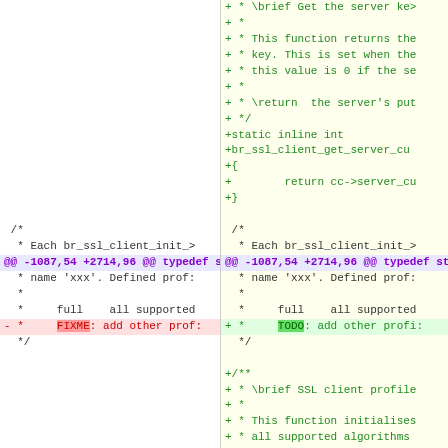Diff view showing code changes with added lines (green), removed lines (red), and hunk header (magenta). Left column shows old code, right column shows new code with additions.